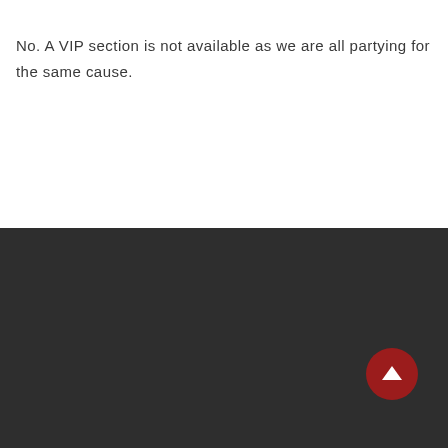No. A VIP section is not available as we are all partying for the same cause.